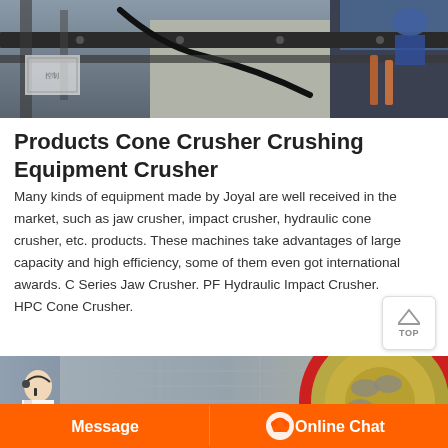[Figure (photo): Industrial machinery photo showing metal beams, cables and mechanical equipment in a factory or construction setting.]
Products Cone Crusher Crushing Equipment Crusher
Many kinds of equipment made by Joyal are well received in the market, such as jaw crusher, impact crusher, hydraulic cone crusher, etc. products. These machines take advantages of large capacity and high efficiency, some of them even got international awards. C Series Jaw Crusher. PF Hydraulic Impact Crusher. HPC Cone Crusher.
[Figure (photo): Industrial crusher equipment photo showing a large flywheel and building facade. Includes a customer service representative, a Message button and an Online Chat button at the bottom.]